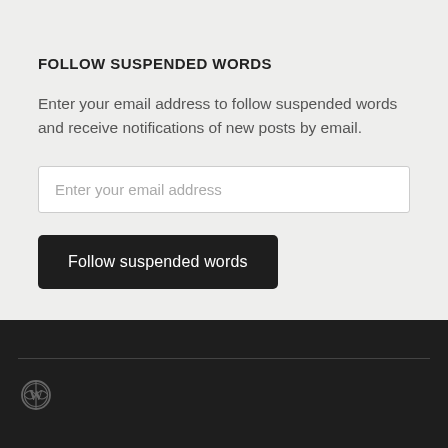FOLLOW SUSPENDED WORDS
Enter your email address to follow suspended words and receive notifications of new posts by email.
Enter your email address
Follow suspended words
[Figure (logo): WordPress logo icon in dark footer area]